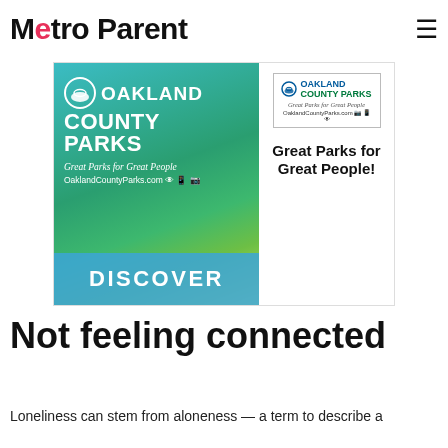Metro Parent
But practice feminism completely and how can relationships with others ... and big relationships with others ... impact children here
[Figure (photo): Oakland County Parks advertisement. Left side shows green/teal nature background with 'Oakland County Parks - Great Parks for Great People - OaklandCountyParks.com' branding and 'DISCOVER' bar at bottom. Right side on white background shows Oakland County Parks logo and text 'Great Parks for Great People!']
Not feeling connected
Loneliness can stem from aloneness — a term to describe a